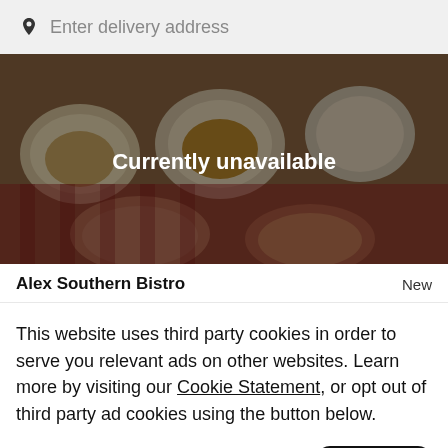Enter delivery address
[Figure (photo): Food photo showing various dishes and plates on a table, with a dark overlay and 'Currently unavailable' text centered over it]
Alex Southern Bistro    New
This website uses third party cookies in order to serve you relevant ads on other websites. Learn more by visiting our Cookie Statement, or opt out of third party ad cookies using the button below.
Opt out   Got it